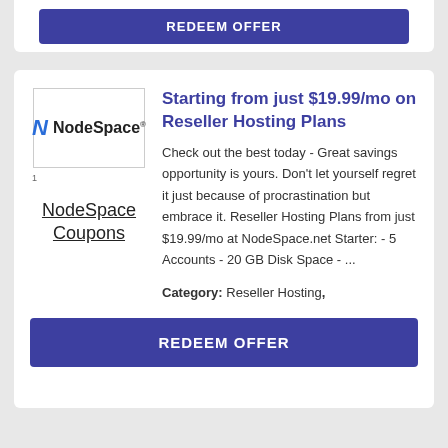REDEEM OFFER
[Figure (logo): NodeSpace logo with bold italic blue N and NodeSpace text]
NodeSpace Coupons
Starting from just $19.99/mo on Reseller Hosting Plans
Check out the best today - Great savings opportunity is yours. Don't let yourself regret it just because of procrastination but embrace it. Reseller Hosting Plans from just $19.99/mo at NodeSpace.net Starter: - 5 Accounts - 20 GB Disk Space - ...
Category: Reseller Hosting,
REDEEM OFFER